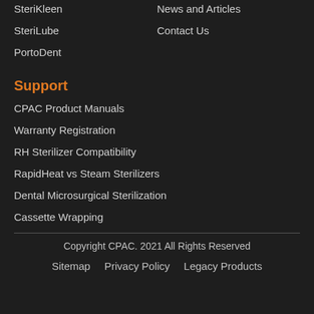SteriKleen
News and Articles
SteriLube
Contact Us
PortoDent
Support
CPAC Product Manuals
Warranty Registration
RH Sterilizer Compatibility
RapidHeat vs Steam Sterilizers
Dental Microsurgical Sterilization
Cassette Wrapping
Copyright CPAC. 2021 All Rights Reserved
Sitemap   Privacy Policy   Legacy Products